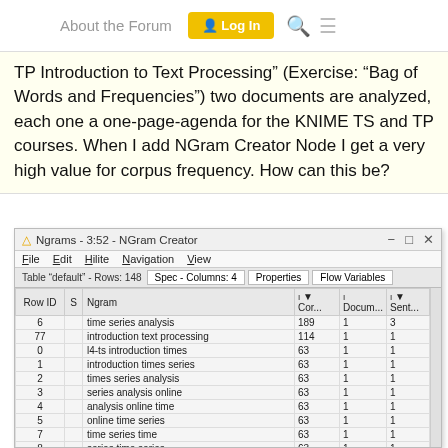About the Forum  Log In
TP Introduction to Text Processing" (Exercise: "Bag of Words and Frequencies") two documents are analyzed, each one a one-page-agenda for the KNIME TS and TP courses. When I add NGram Creator Node I get a very high value for corpus frequency. How can this be?
[Figure (screenshot): Screenshot of KNIME NGram Creator node output table titled 'Ngrams - 3:52 - NGram Creator'. Table shows Row ID, Ngram, Cor..., Docum..., and Sent... columns. Rows: 6=time series analysis 189, 77=introduction text processing 114, 0=l4-ts introduction times 63, 1=introduction times series 63, 2=times series analysis 63, 3=series analysis online 63, 4=analysis online time 63, 5=online time series 63, 7=time series time 63, 8=series time series 63, 9=series analysis predictions 63, 10=univariate multivariate time 63, 11=multivariate time series 63, 12=series analysis data 63, 13=analysis data cleaning 63, 14=data cleaning data 63. Page 1/9.]